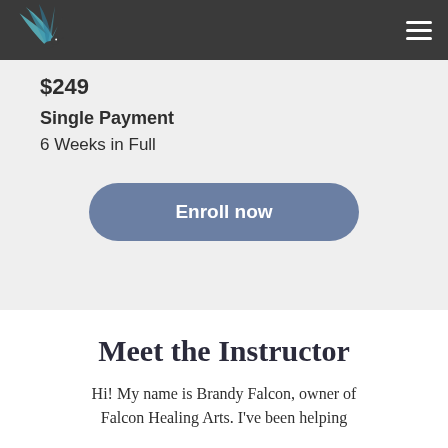Falcon Healing Arts logo and navigation
$249
Single Payment
6 Weeks in Full
Enroll now
Meet the Instructor
Hi! My name is Brandy Falcon, owner of Falcon Healing Arts. I've been helping